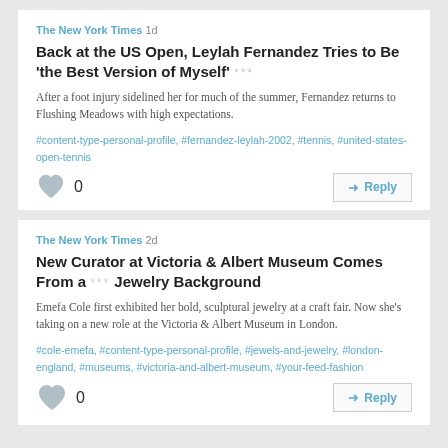The New York Times 1d
Back at the US Open, Leylah Fernandez Tries to Be 'the Best Version of Myself'
After a foot injury sidelined her for much of the summer, Fernandez returns to Flushing Meadows with high expectations.
#content-type-personal-profile, #fernandez-leylah-2002, #tennis, #united-states-open-tennis
The New York Times 2d
New Curator at Victoria & Albert Museum Comes From a Jewelry Background
Emefa Cole first exhibited her bold, sculptural jewelry at a craft fair. Now she's taking on a new role at the Victoria & Albert Museum in London.
#cole-emefa, #content-type-personal-profile, #jewels-and-jewelry, #london-england, #museums, #victoria-and-albert-museum, #your-feed-fashion